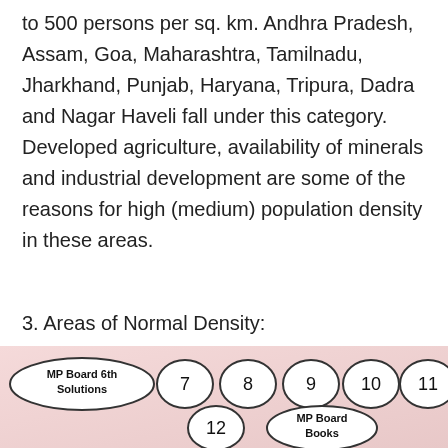to 500 persons per sq. km. Andhra Pradesh, Assam, Goa, Maharashtra, Tamilnadu, Jharkhand, Punjab, Haryana, Tripura, Dadra and Nagar Haveli fall under this category. Developed agriculture, availability of minerals and industrial development are some of the reasons for high (medium) population density in these areas.
3. Areas of Normal Density:
These include all those states which have population density ranging from 101 to 250 persons per sq. km. The States included in this category are M.P., Rajasthan, Orissa, Chhattisgarh, Uttaranchal,
[Figure (infographic): Navigation bar with oval-shaped buttons: 'MP Board 6th Solutions', '7', '8', '9', '10', '11', '12', 'MP Board Books' on a pink/rose gradient background]